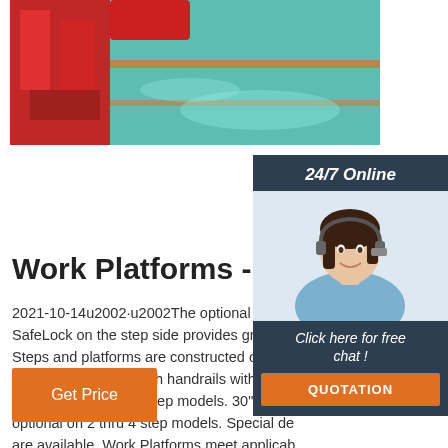[Figure (photo): Warehouse interior with red industrial equipment on left and green/teal reflective floor surface]
Work Platforms - Cotterman
2021-10-14u2002·u2002The optional Cotterman SafeLock on the step side provides greater Steps and platforms are constructed of heavy serrated tread. 36" high handrails with midra standard on 5 thru 7 step models. 30" handr optional on 2 thru 4 step models. Special de are available. Work Platforms meet applicab and ANSI ...
[Figure (photo): Customer service representative woman with headset smiling, with 24/7 Online chat panel overlay]
Get Price
Click here for free chat !
QUOTATION